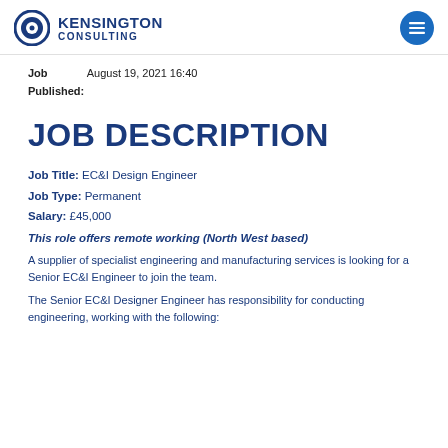KENSINGTON CONSULTING
Job Published: August 19, 2021 16:40
JOB DESCRIPTION
Job Title: EC&I Design Engineer
Job Type: Permanent
Salary: £45,000
This role offers remote working (North West based)
A supplier of specialist engineering and manufacturing services is looking for a Senior EC&I Engineer to join the team.
The Senior EC&I Designer Engineer has responsibility for conducting engineering, working with the following: